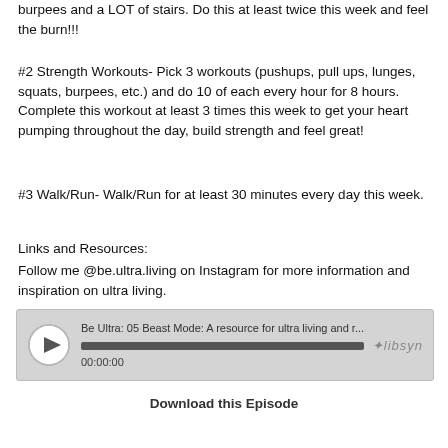burpees and a LOT of stairs.  Do this at least twice this week and feel the burn!!!
#2 Strength Workouts- Pick 3 workouts (pushups, pull ups, lunges, squats, burpees, etc.) and do 10 of each every hour for 8 hours.  Complete this workout at least 3 times this week to get your heart pumping throughout the day, build strength and feel great!
#3 Walk/Run- Walk/Run for at least 30 minutes every day this week.
Links and Resources:
Follow me @be.ultra.living on Instagram for more information and inspiration on ultra living.
[Figure (screenshot): Audio player widget for 'Be Ultra: 05 Beast Mode: A resource for ultra living and r...' showing a play button, progress bar at 00:00:00, and Libsyn logo]
Download this Episode